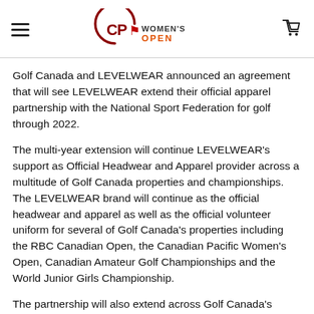CP Women's Open (logo/navigation header)
Golf Canada and LEVELWEAR announced an agreement that will see LEVELWEAR extend their official apparel partnership with the National Sport Federation for golf through 2022.
The multi-year extension will continue LEVELWEAR’s support as Official Headwear and Apparel provider across a multitude of Golf Canada properties and championships. The LEVELWEAR brand will continue as the official headwear and apparel as well as the official volunteer uniform for several of Golf Canada’s properties including the RBC Canadian Open, the Canadian Pacific Women’s Open, Canadian Amateur Golf Championships and the World Junior Girls Championship.
The partnership will also extend across Golf Canada’s